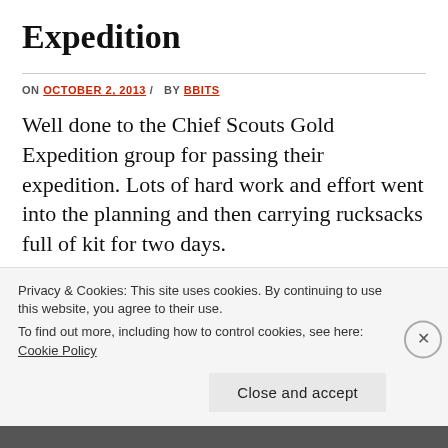Expedition
ON OCTOBER 2, 2013 / BY BBITS
Well done to the Chief Scouts Gold Expedition group for passing their expedition. Lots of hard work and effort went into the planning and then carrying rucksacks full of kit for two days.
Privacy & Cookies: This site uses cookies. By continuing to use this website, you agree to their use.
To find out more, including how to control cookies, see here: Cookie Policy